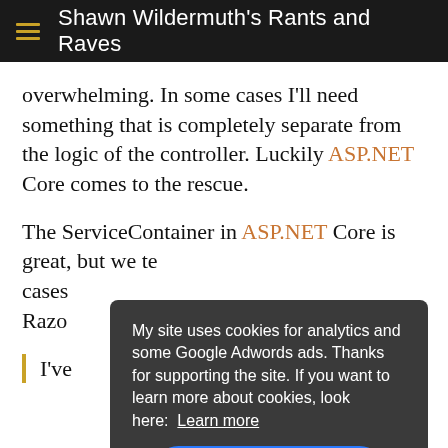Shawn Wildermuth's Rants and Raves
overwhelming. In some cases I'll need something that is completely separate from the logic of the controller. Luckily ASP.NET Core comes to the rescue.
The ServiceContainer in ASP.NET Core is great, but we te... cases... Razo...
My site uses cookies for analytics and some Google Adwords ads. Thanks for supporting the site. If you want to learn more about cookies, look here: Learn more
I've...